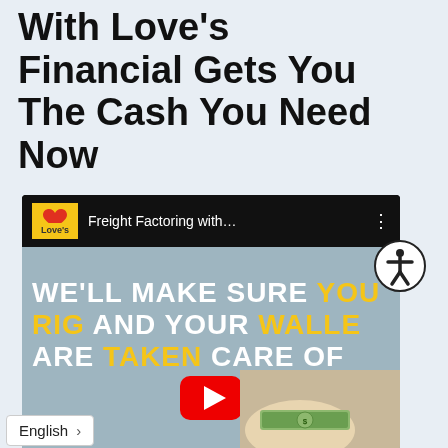With Love's Financial Gets You The Cash You Need Now
[Figure (screenshot): YouTube video embed showing Love's Financial freight factoring video. Header shows Love's logo and title 'Freight Factoring with...' with menu dots. Video thumbnail shows text 'WE'LL MAKE SURE YOU RIG AND YOUR WALLET ARE TAKEN CARE OF' with a YouTube play button, and hands holding cash at bottom.]
English >